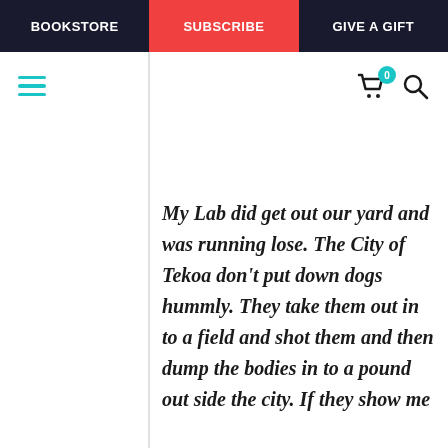BOOKSTORE  |  SUBSCRIBE  |  GIVE A GIFT
My Lab did get out our yard and was running lose. The City of Tekoa don't put down dogs hummly. They take them out in to a field and shot them and then dump the bodies in to a pound out side the city. If they show me